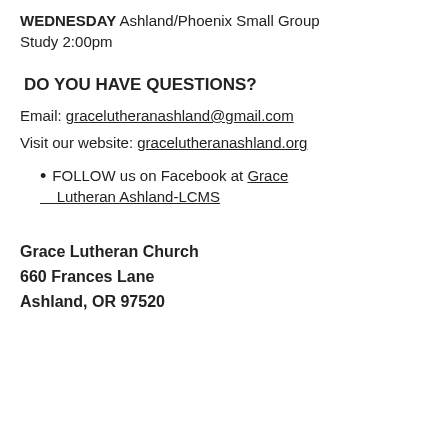WEDNESDAY Ashland/Phoenix Small Group Study 2:00pm
DO YOU HAVE QUESTIONS?
Email: gracelutheranashland@gmail.com
Visit our website: gracelutheranashland.org
FOLLOW us on Facebook at Grace Lutheran Ashland-LCMS
Grace Lutheran Church
660 Frances Lane
Ashland, OR 97520